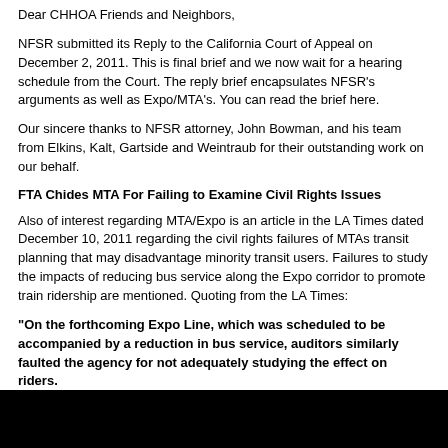Dear CHHOA Friends and Neighbors,
NFSR submitted its Reply to the California Court of Appeal on December 2, 2011. This is final brief and we now wait for a hearing schedule from the Court. The reply brief encapsulates NFSR's arguments as well as Expo/MTA's. You can read the brief here.
Our sincere thanks to NFSR attorney, John Bowman, and his team from Elkins, Kalt, Gartside and Weintraub for their outstanding work on our behalf.
FTA Chides MTA For Failing to Examine Civil Rights Issues
Also of interest regarding MTA/Expo is an article in the LA Times dated December 10, 2011 regarding the civil rights failures of MTAs transit planning that may disadvantage minority transit users. Failures to study the impacts of reducing bus service along the Expo corridor to promote train ridership are mentioned. Quoting from the LA Times:
"On the forthcoming Expo Line, which was scheduled to be accompanied by a reduction in bus service, auditors similarly faulted the agency for not adequately studying the effect on riders.
"You put in a new rail line, if at the same time you're taking out some